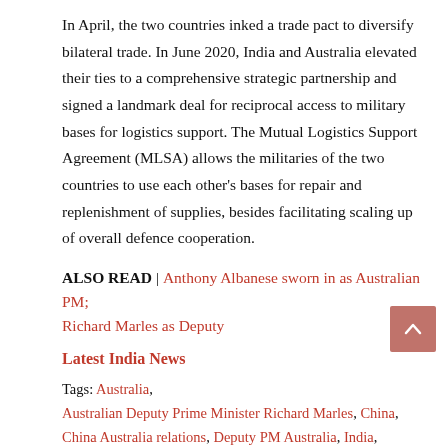In April, the two countries inked a trade pact to diversify bilateral trade. In June 2020, India and Australia elevated their ties to a comprehensive strategic partnership and signed a landmark deal for reciprocal access to military bases for logistics support. The Mutual Logistics Support Agreement (MLSA) allows the militaries of the two countries to use each other's bases for repair and replenishment of supplies, besides facilitating scaling up of overall defence cooperation.
ALSO READ | Anthony Albanese sworn in as Australian PM; Richard Marles as Deputy
Latest India News
Tags: Australia, Australian Deputy Prime Minister Richard Marles, China, China Australia relations, Deputy PM Australia, India, India Australia, India China crisis, India China standoff, India china war, Ladakh crisis, Ladakh Standoff, news about Australia, news about China